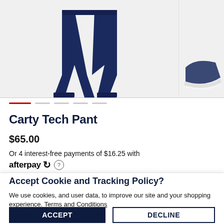[Figure (photo): Product photo of navy blue jogger/tech pants shown from the front, cropped at top]
[Figure (photo): Partial view of a shoe on the right side, cropped]
Carty Tech Pant
$65.00
Or 4 interest-free payments of $16.25 with
afterpay ⟳ ?
Accept Cookie and Tracking Policy?
We use cookies, and user data, to improve our site and your shopping experience. Terms and Conditions
ACCEPT
DECLINE